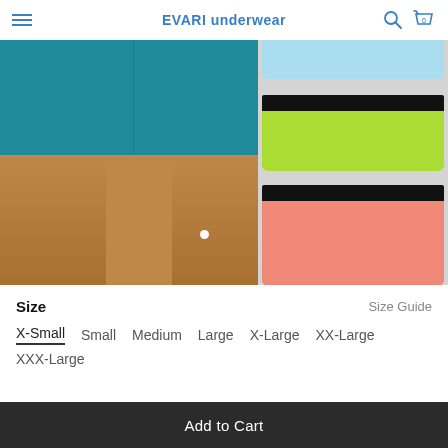EVARI underwear
[Figure (photo): E-commerce product page screenshot showing teal boyshort underwear worn by a model on the left, and three stacked pairs in light blue, lime green, and pink colors on the right. Website header shows 'EVARI underwear' brand name with hamburger menu, search icon, and cart icon (0 items).]
Size   Size Guide
X-Small
Small
Medium
Large
X-Large
XX-Large
XXX-Large
Add to Cart